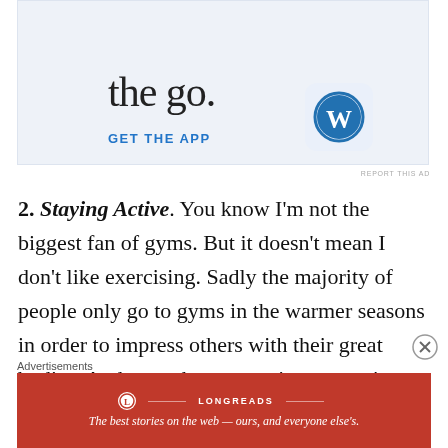[Figure (screenshot): WordPress app advertisement banner with light blue background showing 'the go.' text, a 'GET THE APP' link in blue, and the WordPress logo icon on the right.]
REPORT THIS AD
2. Staying Active. You know I'm not the biggest fan of gyms. But it doesn't mean I don't like exercising. Sadly the majority of people only go to gyms in the warmer seasons in order to impress others with their great bodies. And once that season is over, so is their exercising, so who cares what you have under
Advertisements
[Figure (logo): Longreads advertisement banner in red with Longreads logo and tagline: The best stories on the web — ours, and everyone else's.]